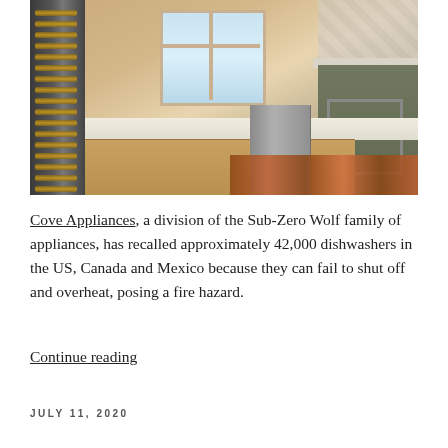[Figure (photo): Kitchen scene showing a wine refrigerator on the left with wood shelving, light wood cabinetry, a window with sunflowers, a stainless steel dishwasher with door open, a decorative rug on the floor, and a grey-green kitchen island on the right with decorative X panel, patterned tile backsplash in background.]
Cove Appliances, a division of the Sub-Zero Wolf family of appliances, has recalled approximately 42,000 dishwashers in the US, Canada and Mexico because they can fail to shut off and overheat, posing a fire hazard.
Continue reading
JULY 11, 2020